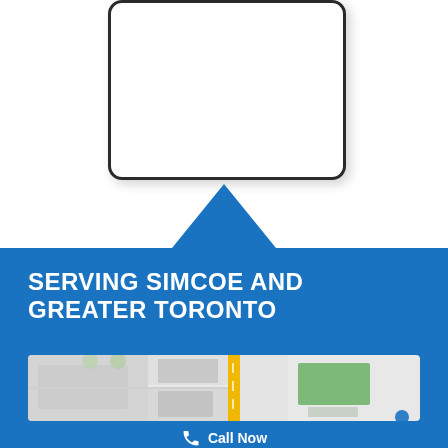[Figure (illustration): Partial view of a mobile phone outline (rounded rectangle border) on white background, cropped at top]
[Figure (illustration): Blue upward-pointing triangle/arrow shape pointing down into blue section]
SERVING SIMCOE AND GREATER TORONTO
[Figure (map): Google Maps style map excerpt showing roads and a green building area]
Call Now